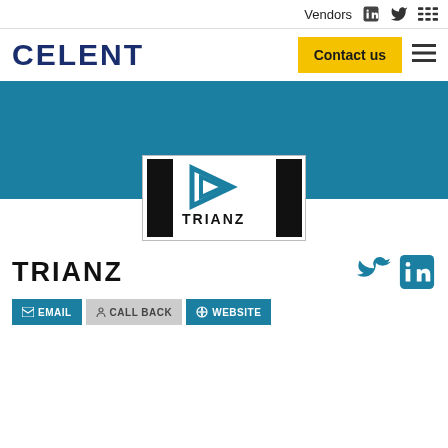Vendors
[Figure (logo): CELENT logo in dark navy blue bold text]
[Figure (logo): TRIANZ company logo with play-button icon in blue, black vertical bars, white background]
TRIANZ
EMAIL   CALL BACK   WEBSITE